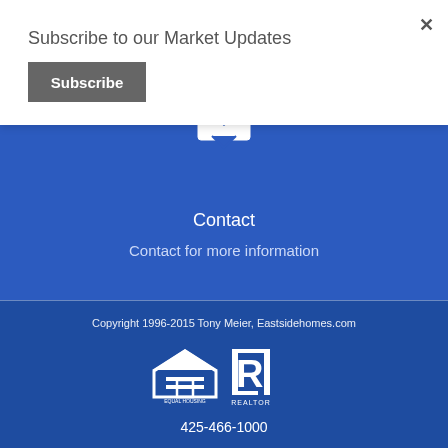Subscribe to our Market Updates
Subscribe
×
[Figure (illustration): Envelope icon with downward chevron on blue background]
Contact
Contact for more information
Copyright 1996-2015 Tony Meier, Eastsidehomes.com
[Figure (logo): Equal Housing Opportunity logo and REALTOR logo in white]
425-466-1000